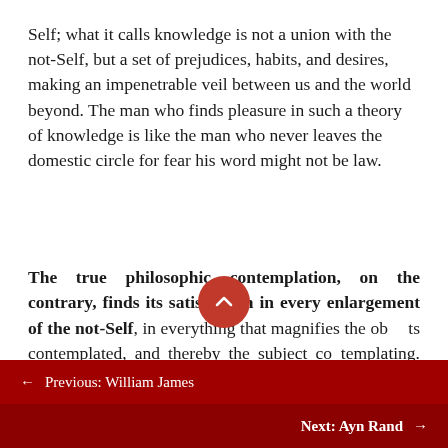Self; what it calls knowledge is not a union with the not-Self, but a set of prejudices, habits, and desires, making an impenetrable veil between us and the world beyond. The man who finds pleasure in such a theory of knowledge is like the man who never leaves the domestic circle for fear his word might not be law.
The true philosophic contemplation, on the contrary, finds its satisfaction in every enlargement of the not-Self, in everything that magnifies the objects contemplated, and thereby the subject contemplating. Everything,
← Previous: William James
Next: Ayn Rand →